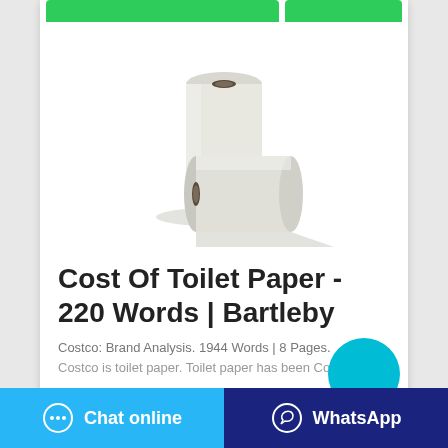[Figure (photo): Two rolls of white toilet paper/paper towels, one standing upright and one lying on its side in front]
Cost Of Toilet Paper - 220 Words | Bartleby
Costco: Brand Analysis. 1944 Words | 8 Pages.
Costco is toilet paper. Toilet paper has been Costco
[Figure (infographic): Cyan/teal circular button overlay on the right side]
Chat online
WhatsApp